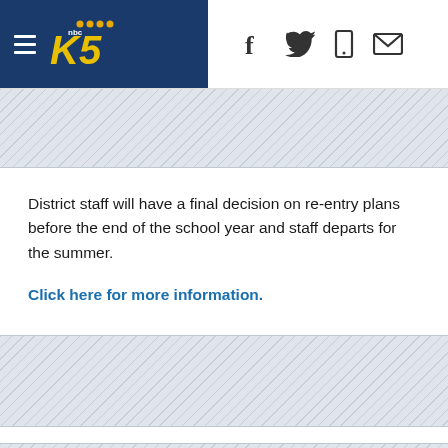KING5 News header with hamburger menu, logo, and social icons (f, Twitter bird, mobile, email)
[Figure (other): Diagonal hatched light-blue/grey decorative band at top of content area]
District staff will have a final decision on re-entry plans before the end of the school year and staff departs for the summer.
Click here for more information.
[Figure (other): Diagonal hatched light-blue/grey decorative band at bottom of content area]
[Figure (other): Second diagonal hatched light-blue/grey decorative band at very bottom]